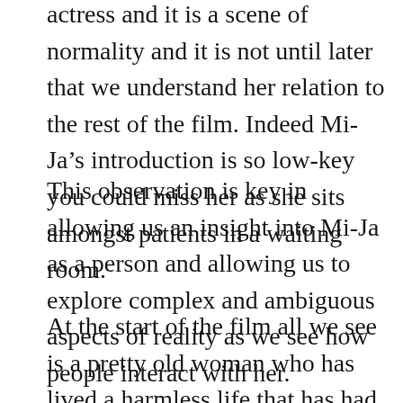actress and it is a scene of normality and it is not until later that we understand her relation to the rest of the film. Indeed Mi-Ja's introduction is so low-key you could miss her as she sits amongst patients in a waiting room.
This observation is key in allowing us an insight into Mi-Ja as a person and allowing us to explore complex and ambiguous aspects of reality as we see how people interact with her.
At the start of the film all we see is a pretty old woman who has lived a harmless life that has had its moments of fun but is drifting to finality but now, because she is suffering memory loss she is inspired to be a poet. Mi-Ja is beautiful and stylish when compared to others